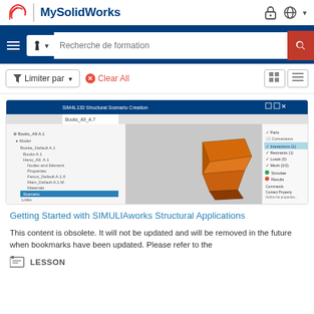[Figure (screenshot): MySolidWorks website header with DS logo and brand name]
[Figure (screenshot): MySolidWorks search bar with hamburger menu, graduation cap dropdown, search field with 'Recherche de formation' placeholder, and red search button]
[Figure (screenshot): Filter bar with 'Limiter par' dropdown, 'Clear All' button, and grid/list view toggle buttons]
[Figure (screenshot): SIMULIA structural scenario creation software screenshot showing a 3D model of a bracket-like part with simulation tree on left and properties panel on right]
Getting Started with SIMULIAworks Structural Applications
This content is obsolete. It will not be updated and will be removed in the future when bookmarks have been updated. Please refer to the
LESSON